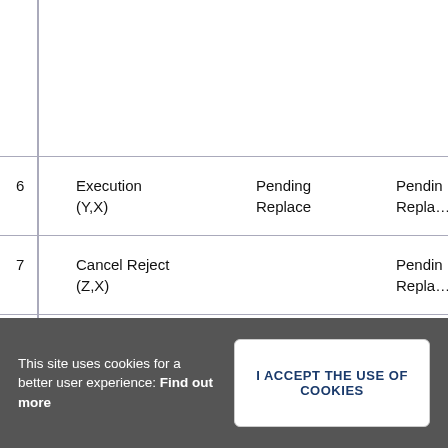|  |  |  |  |
| --- | --- | --- | --- |
|  |  |  |  |
| 6 | Execution (Y,X) | Pending Replace | Pending Replac… |
| 7 | Cancel Reject (Z,X) |  | Pending Replac… |
This site uses cookies for a better user experience: Find out more
I ACCEPT THE USE OF COOKIES